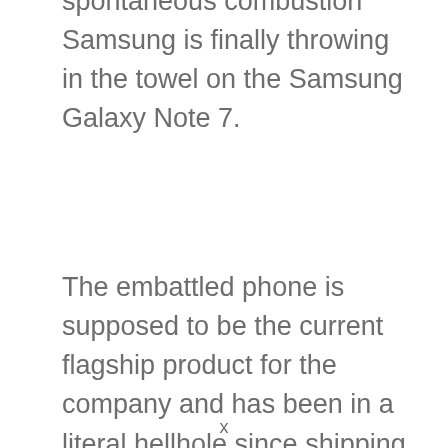spontaneous combustion Samsung is finally throwing in the towel on the Samsung Galaxy Note 7.
The embattled phone is supposed to be the current flagship product for the company and has been in a literal hellhole since shipping the first batch of
x